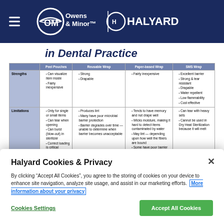Owens & Minor | HALYARD
in Dental Practice
|  | Peel Pouches | Reusable Wrap | Paper-based Wrap | SMS Wrap |
| --- | --- | --- | --- | --- |
| Strengths | Can visualize item inside
Fairly inexpensive | Strong
Drapable | Fairly inexpensive | Excellent barrier
Strong & tear resistant
Drapable
Water repellent
Low flammability
Cost effective |
| Limitations | Only for single or small items
Can tear when opening
Can burst (blow-out) in sterilizer
Correct loading is critical | Produces lint
Many have poor microbial barrier protection
Barrier degrades over time — unable to determine when barrier becomes unacceptable | Tends to have memory and not drape well
Wicks moisture, making it hard to detect items contaminated by water
May lint — depending upon how well the fibers are bound
Some have poor barrier | Can tear with heavy sets
Cannot be used in Dry Heat Sterilization because it will melt |
Halyard Cookies & Privacy
By clicking “Accept All Cookies”, you agree to the storing of cookies on your device to enhance site navigation, analyze site usage, and assist in our marketing efforts. More information about your privacy
Cookies Settings | Accept All Cookies